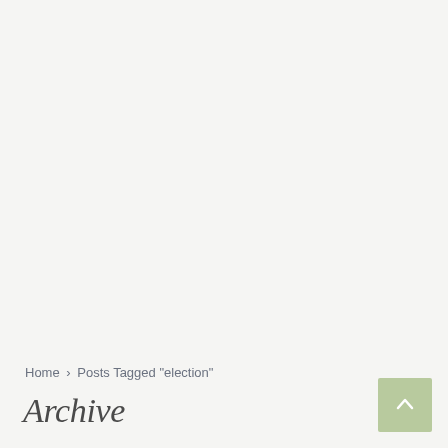Home > Posts Tagged "election"
Archive